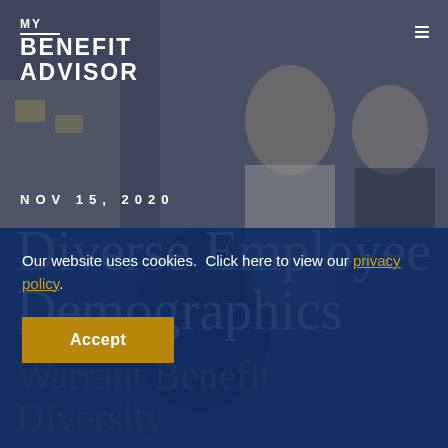[Figure (photo): Background photo of diverse group of women in an office/meeting room, laughing and engaged, with a whiteboard visible in the background. Image has a dark overlay.]
MY BENEFIT ADVISOR
NOV 15, 2020
Diverse Employee Demographics Warrant Benefit Diversity
Our website uses cookies.  Click here to view our privacy policy.
Accept